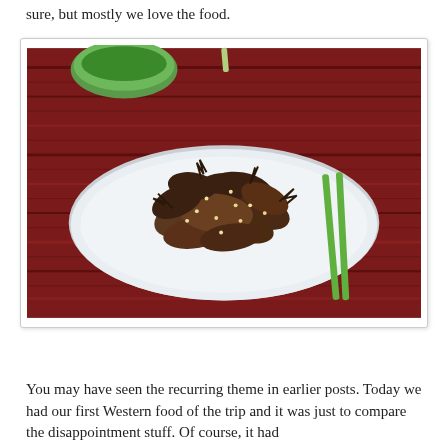sure, but mostly we love the food.
[Figure (photo): A white plate piled with seasoned cooked shellfish/whelks on a red wooden table, with green chopsticks resting on the right side of the plate and a green bowl visible in the upper left background.]
You may have seen the recurring theme in earlier posts. Today we had our first Western food of the trip and it was just to compare the disappointment stuff. Of course, it had...